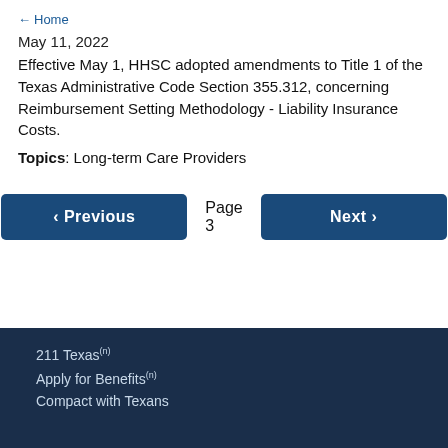← Home
May 11, 2022
Effective May 1, HHSC adopted amendments to Title 1 of the Texas Administrative Code Section 355.312, concerning Reimbursement Setting Methodology - Liability Insurance Costs.
Topics: Long-term Care Providers
‹ Previous  Page 3  Next ›
211 Texas(n)
Apply for Benefits(n)
Compact with Texans